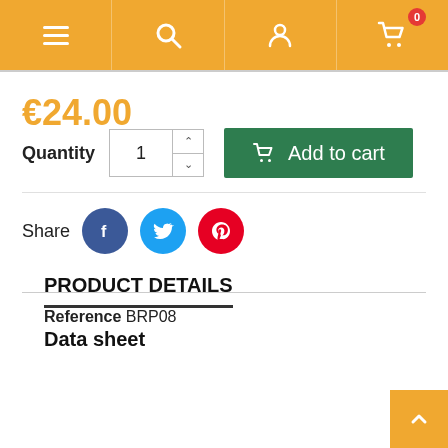Navigation bar with menu, search, account, and cart (0 items)
€24.00
Quantity 1  Add to cart
Share
PRODUCT DETAILS
Reference BRP08
Data sheet
|  |  |
| --- | --- |
| Gender | Unisexe |
| Material | natural stone |